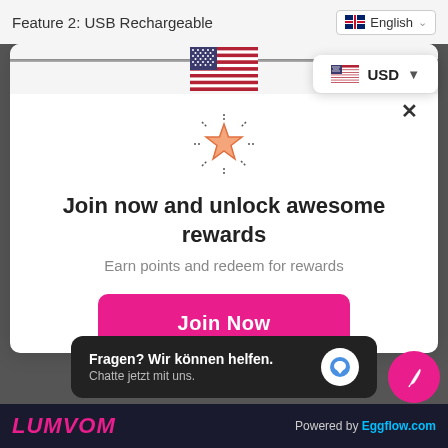Feature 2: USB Rechargeable
[Figure (screenshot): Rewards loyalty program modal popup with US flag, star icon, 'Join now and unlock awesome rewards' title, subtitle, and Join Now button. Also shows USD currency selector dropdown, language selector, close button, chat widget, and page footer with LUMVOM branding and Powered by Eggflow.com.]